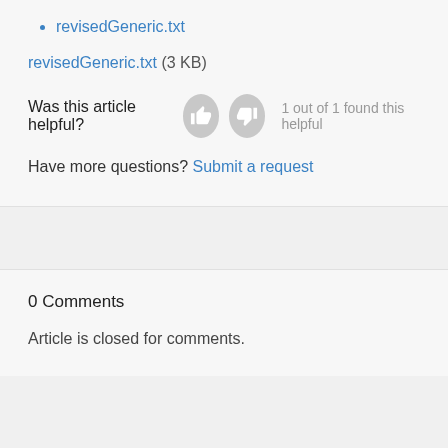revisedGeneric.txt
revisedGeneric.txt (3 KB)
Was this article helpful?   1 out of 1 found this helpful
Have more questions? Submit a request
0 Comments
Article is closed for comments.